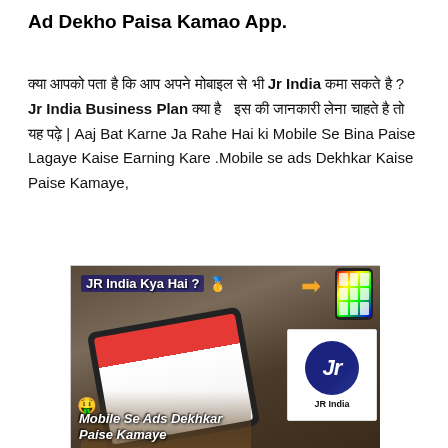Ad Dekho Paisa Kamao App.
क्या आपको पता है कि आप अपने मोबाइल से भी Jr India कमा सकते है ? Jr India Business Plan क्या है  इस की जानकारी लेना चाहते है तो यह पढ़े | Aaj Bat Karne Ja Rahe Hai ki Mobile Se Bina Paise Lagaye Kaise Earning Kare .Mobile se ads Dekhkar Kaise Paise Kamaye,
[Figure (photo): Promotional image for JR India app showing a person holding a tablet with the YouTube app open, text overlays reading 'JR India Kya Hai ?' with a medal emoji and arrow pointing to a phone icon, JR India logo in a white box, money-mouth emoji at bottom left, and bold italic text 'Mobile Se Ads Dekhkar Paise Kamaye' at the bottom.]